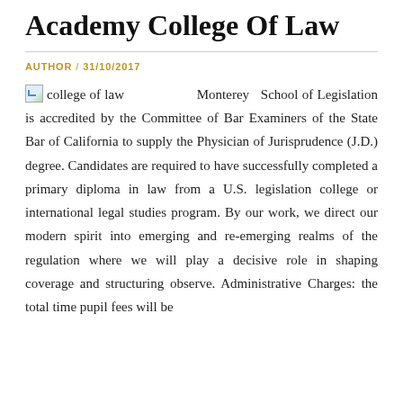Academy College Of Law
AUTHOR / 31/10/2017
college of law  Monterey School of Legislation is accredited by the Committee of Bar Examiners of the State Bar of California to supply the Physician of Jurisprudence (J.D.) degree. Candidates are required to have successfully completed a primary diploma in law from a U.S. legislation college or international legal studies program. By our work, we direct our modern spirit into emerging and re-emerging realms of the regulation where we will play a decisive role in shaping coverage and structuring observe. Administrative Charges: the total time pupil fees will be